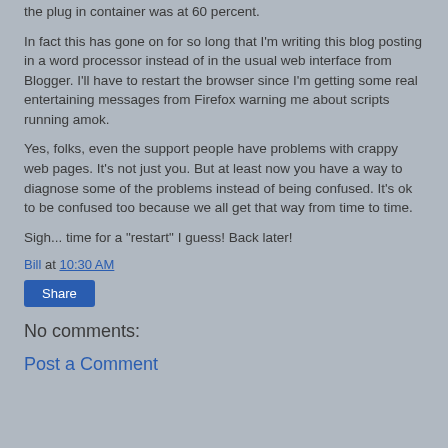the plug in container was at 60 percent.
In fact this has gone on for so long that I'm writing this blog posting in a word processor instead of in the usual web interface from Blogger.  I'll have to restart the browser since I'm getting some real entertaining messages from Firefox warning me about scripts running amok.
Yes, folks, even the support people have problems with crappy web pages.  It's not just you.  But at least now you have a way to diagnose some of the problems instead of being confused.  It's ok to be confused too because we all get that way from time to time.
Sigh... time for a "restart" I guess!  Back later!
Bill at 10:30 AM
Share
No comments:
Post a Comment